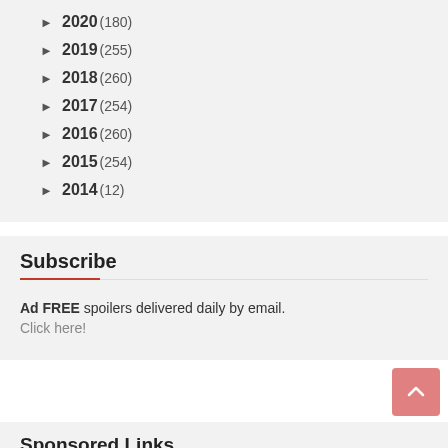► 2020 (180)
► 2019 (255)
► 2018 (260)
► 2017 (254)
► 2016 (260)
► 2015 (254)
► 2014 (12)
Subscribe
Ad FREE spoilers delivered daily by email. Click here!
Sponsored Links